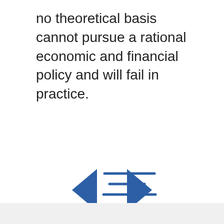no theoretical basis cannot pursue a rational economic and financial policy and will fail in practice.
[Figure (other): Navigation icon with two blue triangular arrows pointing left and right, and four blue horizontal lines of varying lengths centered between them, resembling a menu/navigation control.]